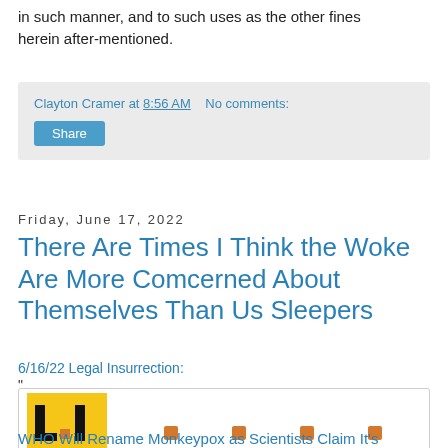in such manner, and to such uses as the other fines herein after-mentioned.
Clayton Cramer at 8:56 AM   No comments:
Share
Friday, June 17, 2022
There Are Times I Think the Woke Are More Comcerned About Themselves Than Us Sleepers
6/16/22 Legal Insurrection:
"
[Figure (logo): Legal Insurrection (LI) logo — yellow shield shape with black block letters L and I, and a small orange square between them. To the right are four small orange squares as decorative dots.]
WHO Will Rename Monkeypox as Scientists Claim It's